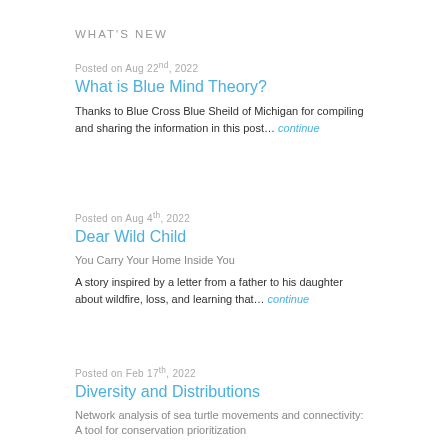WHAT'S NEW
Posted on Aug 22nd, 2022
What is Blue Mind Theory?
Thanks to Blue Cross Blue Sheild of Michigan for compiling and sharing the information in this post… continue
Posted on Aug 4th, 2022
Dear Wild Child
You Carry Your Home Inside You
A story inspired by a letter from a father to his daughter about wildfire, loss, and learning that… continue
Posted on Feb 17th, 2022
Diversity and Distributions
Network analysis of sea turtle movements and connectivity: A tool for conservation prioritization